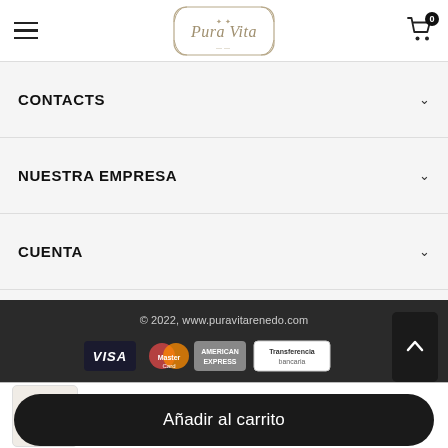Pura Vita — navigation header with hamburger menu and cart icon (0 items)
CONTACTS
NUESTRA EMPRESA
CUENTA
© 2022, www.puravitarenedo.com
[Figure (infographic): Payment method icons: VISA, MasterCard, American Express, Transferencia bancaria]
Bolso shopper diseño de...
49,00 €
Añadir al carrito